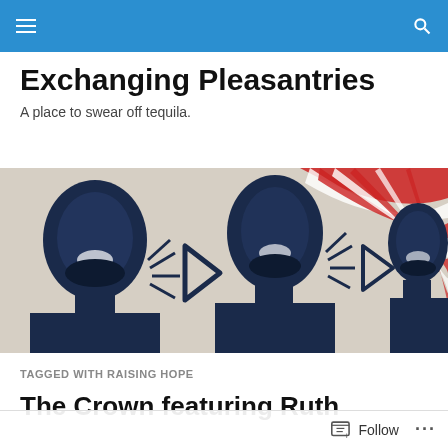Navigation bar with menu and search icons
Exchanging Pleasantries
A place to swear off tequila.
[Figure (photo): Street art / graffiti mural showing three stenciled figures of men with open mouths appearing to shout, with play button triangle symbols between them, against a background with red and white curved stripes resembling a flag motif.]
TAGGED WITH RAISING HOPE
The Crown featuring Ruth
Follow ...